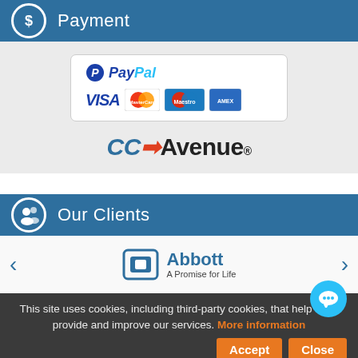Payment
[Figure (logo): Payment section with PayPal logo, VISA, MasterCard, Maestro, American Express card logos, and CCAvenue logo]
Our Clients
[Figure (logo): Abbott - A Promise for Life logo with navigation arrows]
This site uses cookies, including third-party cookies, that help us to provide and improve our services. More information
Accept  Close